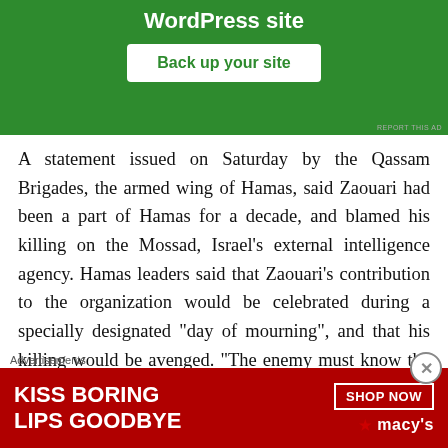[Figure (screenshot): Green advertisement banner for WordPress site backup with 'Back up your site' button and 'REPORT THIS AD' label]
A statement issued on Saturday by the Qassam Brigades, the armed wing of Hamas, said Zaouari had been a part of Hamas for a decade, and blamed his killing on the Mossad, Israel's external intelligence agency. Hamas leaders said that Zaouari's contribution to the organization would be celebrated during a specially designated “day of mourning”, and that his killing would be avenged. “The enemy must know the blood of the leader Zaouari will not
[Figure (screenshot): Red Macy's advertisement banner: 'KISS BORING LIPS GOODBYE' with 'SHOP NOW' button and Macy's star logo, with close button overlay]